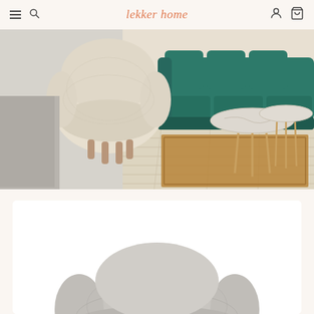lekker home — navigation bar with hamburger, search, logo, account, and cart icons
[Figure (photo): Interior design showroom photo showing a cream boucle armchair with wooden legs in front of a dark teal/green velvet sofa, on a light wood floor with a warm brown/tan rug and round marble side tables with brass legs]
[Figure (photo): Product card showing a light grey boucle accent chair from below, partially visible, on a white background card]